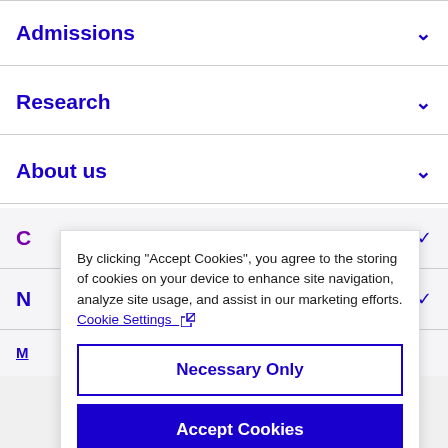Admissions
Research
About us
By clicking “Accept Cookies”, you agree to the storing of cookies on your device to enhance site navigation, analyze site usage, and assist in our marketing efforts. Cookie Settings
Necessary Only
Accept Cookies